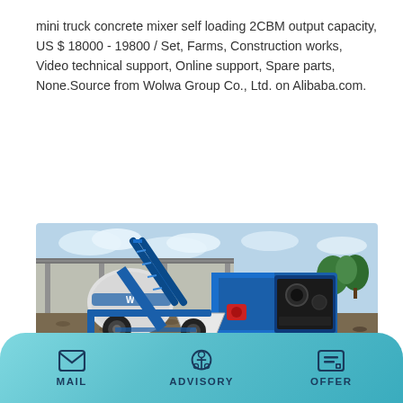mini truck concrete mixer self loading 2CBM output capacity, US $ 18000 - 19800 / Set, Farms, Construction works, Video technical support, Online support, Spare parts, None.Source from Wolwa Group Co., Ltd. on Alibaba.com.
[Figure (other): Cyan/teal 'Learn More' button]
[Figure (photo): Photo of a blue and white mini truck concrete mixer machine (self-loading type) parked outdoors near a warehouse/shed with gravel ground and trees in the background.]
MAIL   ADVISORY   OFFER